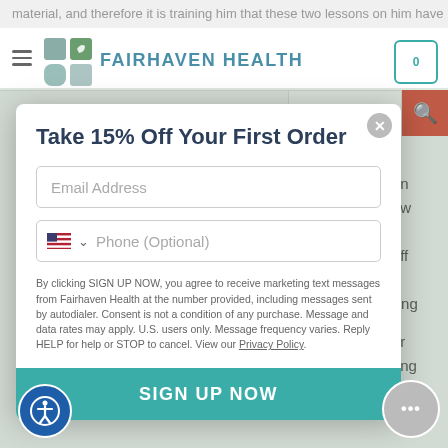FAIRHAVEN HEALTH
material, and therefore it is training him that these two lessons on him have done.
[Figure (screenshot): Fairhaven Health website with a modal popup offering 15% off first order, email and phone input fields, disclaimer text, and a teal SIGN UP NOW button.]
e also not been ts larger. I know c is better for cutting them off ver to my nem, are helping
d improve your h our advertising ite, you accept our
Take 15% Off Your First Order
Email Address
Phone (Optional)
By clicking SIGN UP NOW, you agree to receive marketing text messages from Fairhaven Health at the number provided, including messages sent by autodialer. Consent is not a condition of any purchase. Message and data rates may apply. U.S. users only. Message frequency varies. Reply HELP for help or STOP to cancel. View our Privacy Policy.
SIGN UP NOW